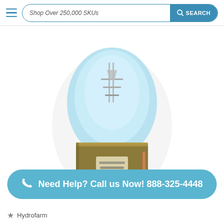Shop Over 250,000 SKUs  SEARCH
[Figure (photo): Close-up photo of a halogen or HID grow light bulb with a blue glass envelope and a gold/brass-colored base with a label, shown against a white background.]
Need Help? Call us Now! 888-325-4448
Hydrofarm